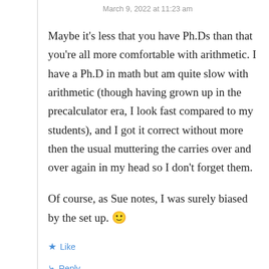March 9, 2022 at 11:23 am
Maybe it's less that you have Ph.Ds than that you're all more comfortable with arithmetic. I have a Ph.D in math but am quite slow with arithmetic (though having grown up in the precalculator era, I look fast compared to my students), and I got it correct without more then the usual muttering the carries over and over again in my head so I don't forget them.
Of course, as Sue notes, I was surely biased by the set up. 🙂
★ Like
↳ Reply